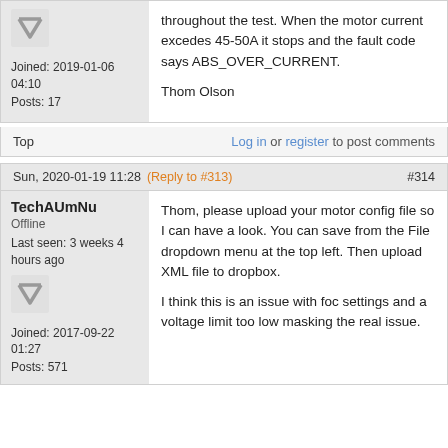Joined: 2019-01-06 04:10
Posts: 17
throughout the test. When the motor current excedes 45-50A it stops and the fault code says ABS_OVER_CURRENT.

Thom Olson
Top
Log in or register to post comments
Sun, 2020-01-19 11:28
(Reply to #313)
#314
TechAUmNu
Offline
Last seen: 3 weeks 4 hours ago
Joined: 2017-09-22 01:27
Posts: 571
Thom, please upload your motor config file so I can have a look. You can save from the File dropdown menu at the top left. Then upload XML file to dropbox.

I think this is an issue with foc settings and a voltage limit too low masking the real issue.